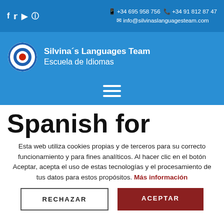f  🐦  ▶  📷    +34 695 958 756  +34 91 812 87 47    info@silvinaslanguagesteam.com
[Figure (logo): Silvina's Languages Team circular logo with red target/bullseye design on white background, blue border with text around it]
Silvina´s Languages Team
Escuela de Idiomas
[Figure (other): Hamburger menu icon (three horizontal white lines) on blue background]
Spanish for
Esta web utiliza cookies propias y de terceros para su correcto funcionamiento y para fines analíticos. Al hacer clic en el botón Aceptar, acepta el uso de estas tecnologías y el procesamiento de tus datos para estos propósitos. Más información
RECHAZAR
ACEPTAR